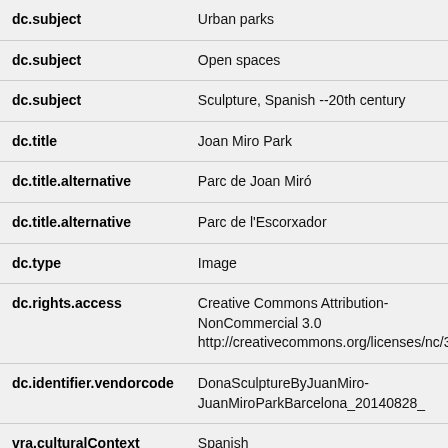| Field | Value |
| --- | --- |
| dc.subject | Urban parks |
| dc.subject | Open spaces |
| dc.subject | Sculpture, Spanish --20th century |
| dc.title | Joan Miro Park |
| dc.title.alternative | Parc de Joan Miró |
| dc.title.alternative | Parc de l'Escorxador |
| dc.type | Image |
| dc.rights.access | Creative Commons Attribution-NonCommercial 3.0 http://creativecommons.org/licenses/nc/3.0/ |
| dc.identifier.vendorcode | DonaSculptureByJuanMiro-JuanMiroParkBarcelona_20140828_ |
| vra.culturalContext | Spanish |